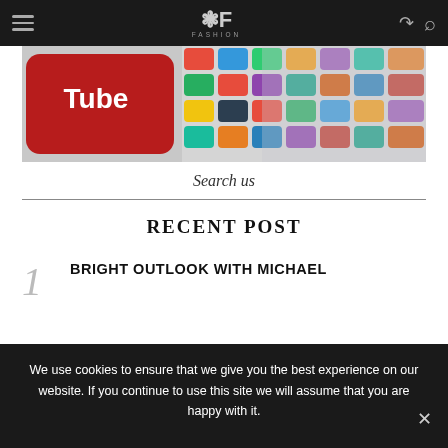FASHION (logo navigation bar)
[Figure (photo): Colorful app icons/tiles on a surface with a red YouTube-like tile in the foreground]
Search us
RECENT POST
1 BRIGHT OUTLOOK WITH MICHAEL
We use cookies to ensure that we give you the best experience on our website. If you continue to use this site we will assume that you are happy with it.